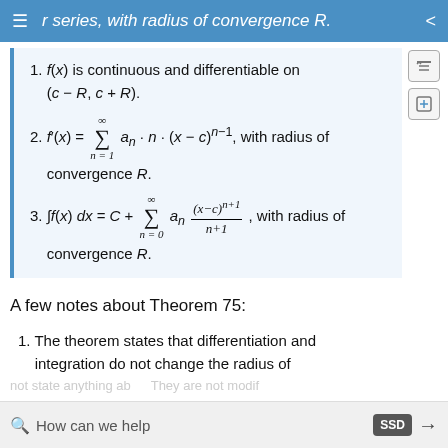r series, with radius of convergence R.
1. f(x) is continuous and differentiable on (c − R, c + R).
2. f'(x) = Σ (n=1 to ∞) a_n · n · (x − c)^(n−1), with radius of convergence R.
3. ∫f(x) dx = C + Σ (n=0 to ∞) a_n · (x−c)^(n+1)/(n+1), with radius of convergence R.
A few notes about Theorem 75:
1. The theorem states that differentiation and integration do not change the radius of
How can we help